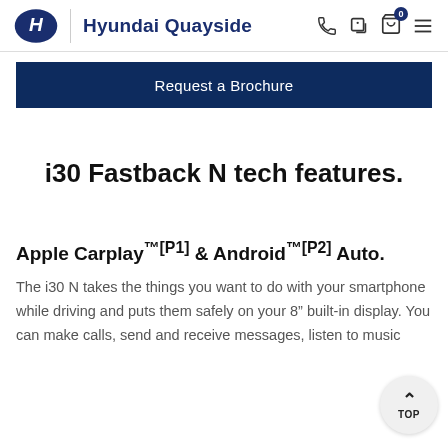Hyundai Quayside
Request a Brochure
i30 Fastback N tech features.
Apple Carplay™[P1] & Android™[P2] Auto.
The i30 N takes the things you want to do with your smartphone while driving and puts them safely on your 8" built-in display. You can make calls, send and receive messages, listen to music